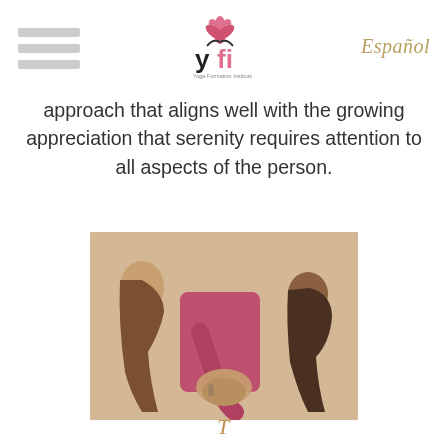YFI logo — Español
approach that aligns well with the growing appreciation that serenity requires attention to all aspects of the person.
[Figure (photo): Two people in a yoga studio, one instructor adjusting the pose of a student wearing a pink top.]
T... (italic gold text, partially visible)